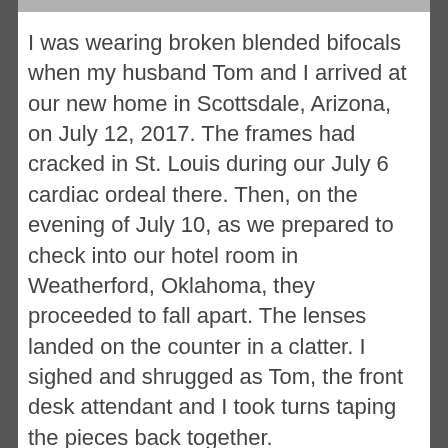I was wearing broken blended bifocals when my husband Tom and I arrived at our new home in Scottsdale, Arizona, on July 12, 2017. The frames had cracked in St. Louis during our July 6 cardiac ordeal there. Then, on the evening of July 10, as we prepared to check into our hotel room in Weatherford, Oklahoma, they proceeded to fall apart. The lenses landed on the counter in a clatter. I sighed and shrugged as Tom, the front desk attendant and I took turns taping the pieces back together.